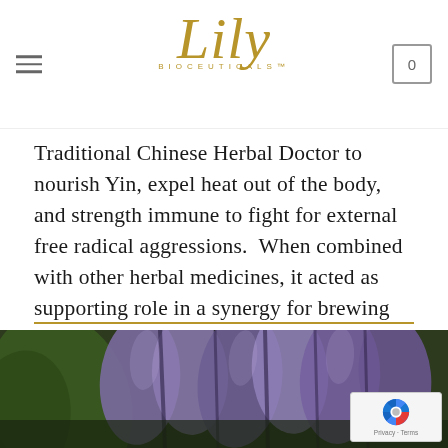Lily Bioceuticals
Traditional Chinese Herbal Doctor to nourish Yin, expel heat out of the body, and strength immune to fight for external free radical aggressions.  When combined with other herbal medicines, it acted as supporting role in a synergy for brewing special group enzymes especially to increase the functionality and performance of other herbs.  It also helps to sustain moisture level for longer period of time for an ultimate younger looking result.
[Figure (photo): Close-up photo of purple/blue tulip flowers with green leaves in background]